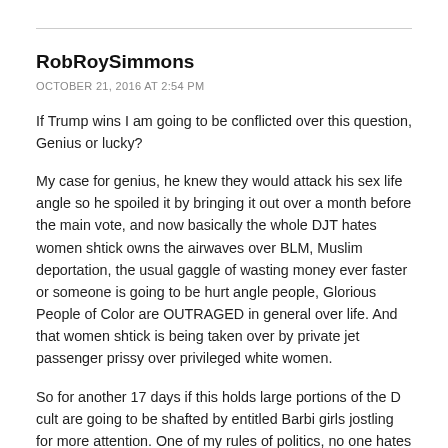RobRoySimmons
OCTOBER 21, 2016 AT 2:54 PM
If Trump wins I am going to be conflicted over this question, Genius or lucky?
My case for genius, he knew they would attack his sex life angle so he spoiled it by bringing it out over a month before the main vote, and now basically the whole DJT hates women shtick owns the airwaves over BLM, Muslim deportation, the usual gaggle of wasting money ever faster or someone is going to be hurt angle people, Glorious People of Color are OUTRAGED in general over life. And that women shtick is being taken over by private jet passenger prissy over privileged white women.
So for another 17 days if this holds large portions of the D cult are going to be shafted by entitled Barbi girls jostling for more attention. One of my rules of politics, no one hates a